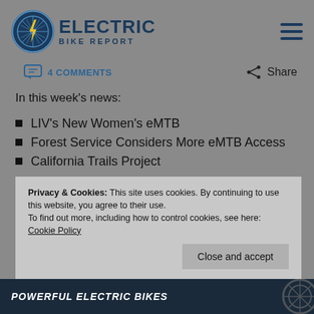[Figure (logo): Electric Bike Report logo with bicycle wheel icon and lightning bolt, text reads ELECTRIC BIKE REPORT]
4 COMMENTS
Share
In this week's news:
LIV's New Women's eMTB
Forest Service Considers More eMTB Access
California Trails Project
Privacy & Cookies: This site uses cookies. By continuing to use this website, you agree to their use.
To find out more, including how to control cookies, see here: Cookie Policy
Close and accept